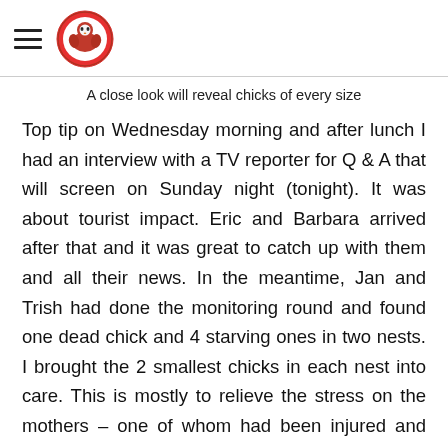[Figure (logo): Circular logo with red and white design featuring an animal, with hamburger menu icon to the left]
A close look will reveal chicks of every size
Top tip on Wednesday morning and after lunch I had an interview with a TV reporter for Q & A that will screen on Sunday night (tonight). It was about tourist impact. Eric and Barbara arrived after that and it was great to catch up with them and all their news. In the meantime, Jan and Trish had done the monitoring round and found one dead chick and 4 starving ones in two nests. I brought the 2 smallest chicks in each nest into care. This is mostly to relieve the stress on the mothers – one of whom had been injured and one who is only 2 years old. She is the only 2-year-old that was attempting to raise 2 chicks. Feeding at the nest is fine for the chick but stressful for the family.